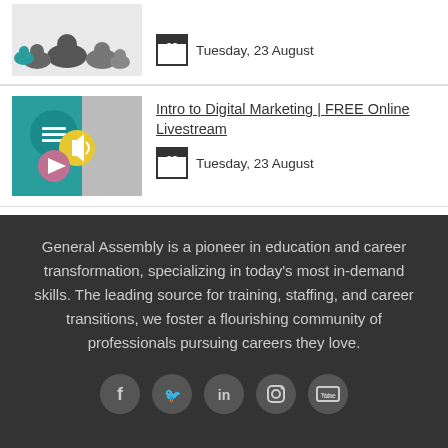[Figure (illustration): Thumbnail image of ducks in grayscale]
Tuesday, 23 August
[Figure (illustration): Intro to Digital Marketing event thumbnail with teal, yellow and purple circles and a hand near ear]
Intro to Digital Marketing | FREE Online Livestream
Tuesday, 23 August
General Assembly is a pioneer in education and career transformation, specializing in today's most in-demand skills. The leading source for training, staffing, and career transitions, we foster a flourishing community of professionals pursuing careers they love.
[Figure (illustration): Social media icons: Facebook, Twitter, LinkedIn, Instagram, YouTube]